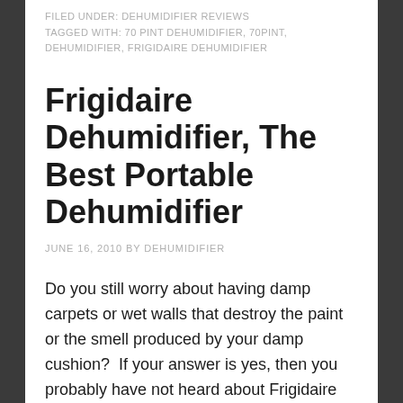FILED UNDER: DEHUMIDIFIER REVIEWS
TAGGED WITH: 70 PINT DEHUMIDIFIER, 70PINT, DEHUMIDIFIER, FRIGIDAIRE DEHUMIDIFIER
Frigidaire Dehumidifier, The Best Portable Dehumidifier
JUNE 16, 2010 BY DEHUMIDIFIER
Do you still worry about having damp carpets or wet walls that destroy the paint or the smell produced by your damp cushion?  If your answer is yes, then you probably have not heard about Frigidaire 70 Dehumidifier.
It is a portable dehumidifier that is very efficient even when you use it at the low speed.  It can